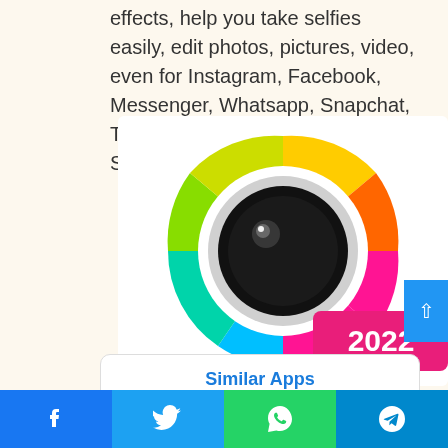effects, help you take selfies easily, edit photos, pictures, video, even for Instagram, Facebook, Messenger, Whatsapp, Snapchat, Twitter, Wechat etc. Features: Selfie
[Figure (logo): Colorful camera app icon with rainbow color wheel around a black lens, with a pink badge showing '2022']
Similarity Rate : 37 %
Similar Apps
Facebook | Twitter | WhatsApp | Telegram